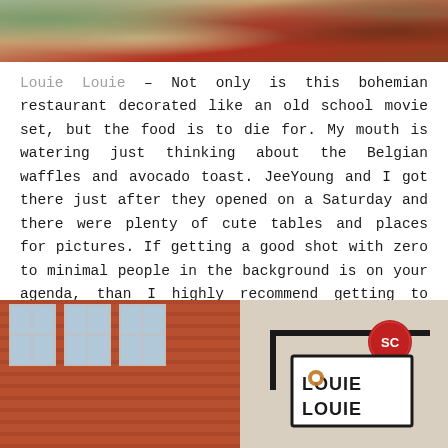[Figure (photo): Top portion of a photo showing food or decorative items with earthy and red tones, appears to be a restaurant setting]
Louie Louie – Not only is this bohemian restaurant decorated like an old school movie set, but the food is to die for. My mouth is watering just thinking about the Belgian waffles and avocado toast. JeeYoung and I got there just after they opened on a Saturday and there were plenty of cute tables and places for pictures. If getting a good shot with zero to minimal people in the background is on your agenda, than I highly recommend getting to places when they open or during off hours/days. 3611 Walnut Street, Philadelphia, PA
[Figure (photo): Bottom portion showing the exterior of Louie Louie restaurant — a brick building with windows and a hanging sign displaying the Louie Louie logo with a red circular emblem]